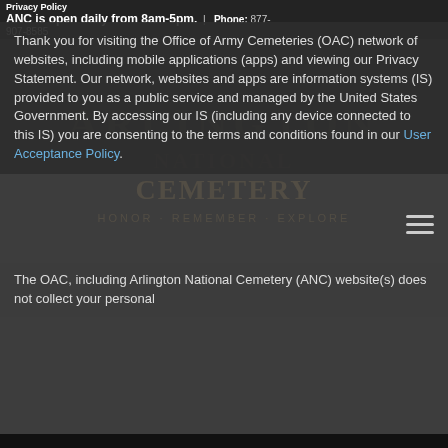Privacy Policy
ANC is open daily from 8am-5pm. | Phone: 877-907-8585
Thank you for visiting the Office of Army Cemeteries (OAC) network of websites, including mobile applications (apps) and viewing our Privacy Statement. Our network, websites and apps are information systems (IS) provided to you as a public service and managed by the United States Government. By accessing our IS (including any device connected to this IS) you are consenting to the terms and conditions found in our User Acceptance Policy.
The OAC, including Arlington National Cemetery (ANC) website(s) does not collect your personal
Find a Grave
Notable Graves
Memorial Arboretum and Horticulture